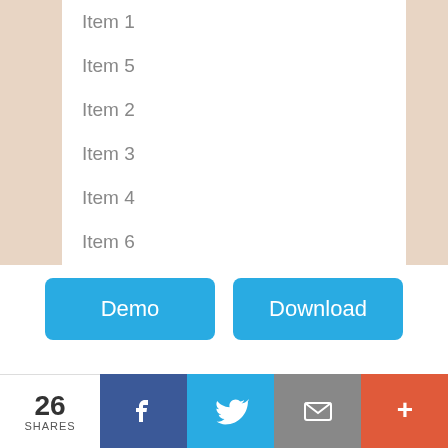Item 1
Item 5
Item 2
Item 3
Item 4
Item 6
Item 7
Demo
Download
26 SHARES | Facebook | Twitter | Email | More